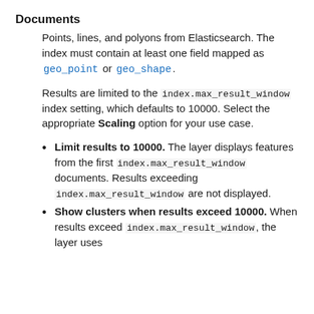Documents
Points, lines, and polyons from Elasticsearch. The index must contain at least one field mapped as geo_point or geo_shape.
Results are limited to the index.max_result_window index setting, which defaults to 10000. Select the appropriate Scaling option for your use case.
Limit results to 10000. The layer displays features from the first index.max_result_window documents. Results exceeding index.max_result_window are not displayed.
Show clusters when results exceed 10000. When results exceed index.max_result_window, the layer uses